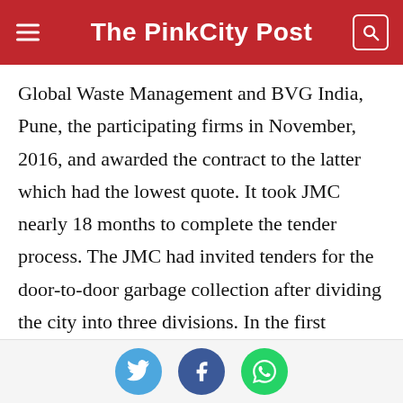The PinkCity Post
Global Waste Management and BVG India, Pune, the participating firms in November, 2016, and awarded the contract to the latter which had the lowest quote. It took JMC nearly 18 months to complete the tender process. The JMC had invited tenders for the door-to-door garbage collection after dividing the city into three divisions. In the first division, the agency has included Hawa Mahal (West), Amer and Vidhyadhar Nagar areas; in the second comes